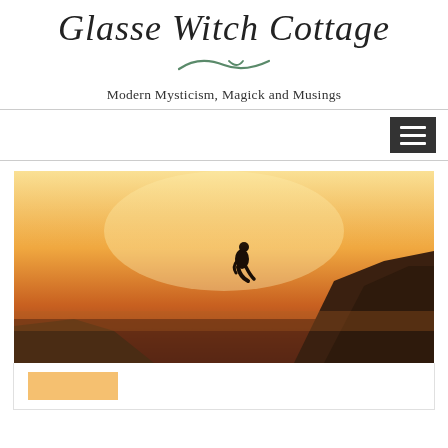Glasse Witch Cottage
Modern Mysticism, Magick and Musings
[Figure (screenshot): Navigation bar with hamburger menu icon (three white lines on dark background) in top right corner]
[Figure (photo): Person sitting on rocky cliff edge overlooking a city at sunset/golden hour, warm orange and golden hazy sky]
[Figure (photo): Partial view of below-hero section with small orange/warm-toned thumbnail image at lower left]